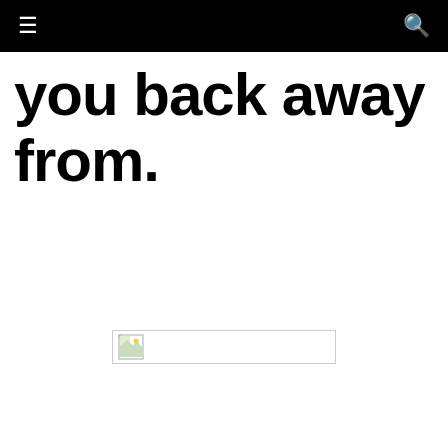you back away from.
[Figure (photo): Broken image placeholder with small image icon and border, no image loaded]